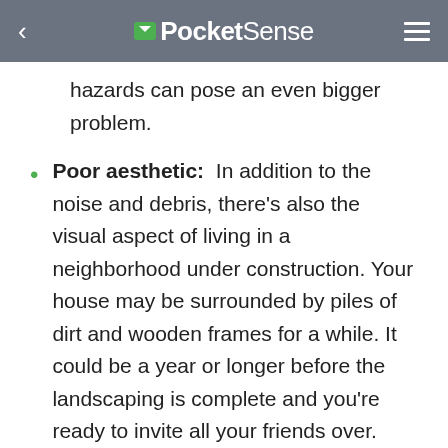PocketSense
hazards can pose an even bigger problem.
Poor aesthetic: In addition to the noise and debris, there's also the visual aspect of living in a neighborhood under construction. Your house may be surrounded by piles of dirt and wooden frames for a while. It could be a year or longer before the landscaping is complete and you're ready to invite all your friends over.
Slower services: The earliest members of